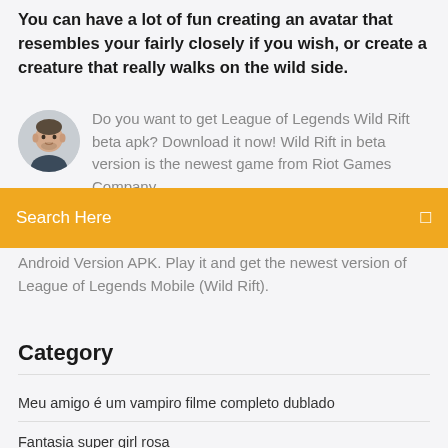You can have a lot of fun creating an avatar that resembles your fairly closely if you wish, or create a creature that really walks on the wild side.
[Figure (photo): Round avatar photo of a man with short beard and dark hair on light gray background]
Do you want to get League of Legends Wild Rift beta apk? Download it now! Wild Rift in beta version is the newest game from Riot Games Company.
Search Here
Android Version APK. Play it and get the newest version of League of Legends Mobile (Wild Rift).
Category
Meu amigo é um vampiro filme completo dublado
Fantasia super girl rosa